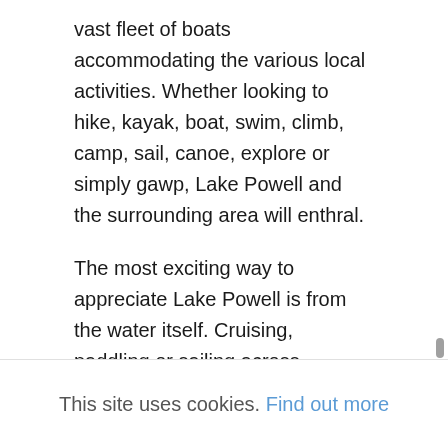vast fleet of boats accommodating the various local activities. Whether looking to hike, kayak, boat, swim, climb, camp, sail, canoe, explore or simply gawp, Lake Powell and the surrounding area will enthral.
The most exciting way to appreciate Lake Powell is from the water itself. Cruising, paddling or sailing across, through and along the ever-changeable lakeshore regions allows visitors to discover the stunning multi-coloured landscape for themselves. When exploring the myriad of twisting lakeshore canyons, peace and calm washes over
This site uses cookies. Find out more